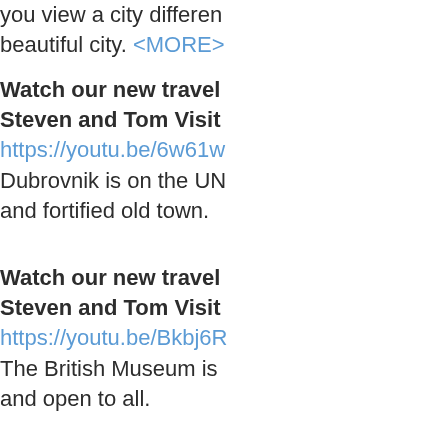you view a city differently beautiful city. <MORE>
Watch our new travel Steven and Tom Visit https://youtu.be/6w61w Dubrovnik is on the UN and fortified old town.
Watch our new travel Steven and Tom Visit https://youtu.be/Bkbj6R The British Museum is and open to all.
Watch our new travel Steven and Tom Visit https://youtu.be/JQxm3 Honolulu is a combinat